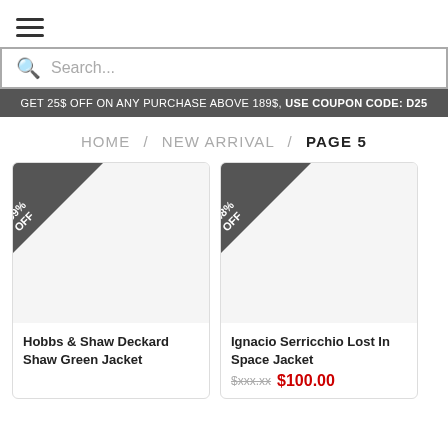☰ (hamburger menu icon)
Search...
GET 25$ OFF ON ANY PURCHASE ABOVE 189$, USE COUPON CODE: D25
HOME / NEW ARRIVAL / PAGE 5
[Figure (other): Product card with -59% OFF badge, blank product image area for Hobbs & Shaw Deckard Shaw Green Jacket]
Hobbs & Shaw Deckard Shaw Green Jacket
[Figure (other): Product card with -48% OFF badge, blank product image area for Ignacio Serricchio Lost In Space Jacket]
Ignacio Serricchio Lost In Space Jacket